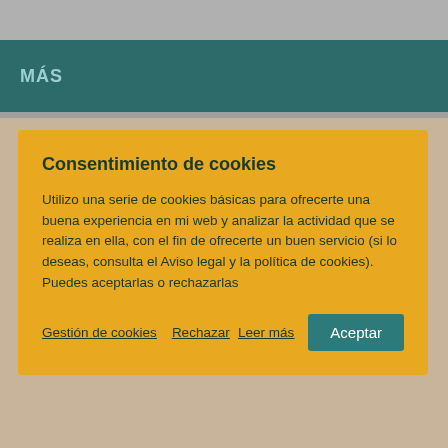MÁS
Consentimiento de cookies
Utilizo una serie de cookies básicas para ofrecerte una buena experiencia en mi web y analizar la actividad que se realiza en ella, con el fin de ofrecerte un buen servicio (si lo deseas, consulta el Aviso legal y la política de cookies). Puedes aceptarlas o rechazarlas
Gestión de cookies
Rechazar
Leer más
Aceptar
[Figure (photo): Partial view of hands and a book cover with decorative text reading 'Cuando el' in stylized red font on a sandy/beige background]
Cuando el